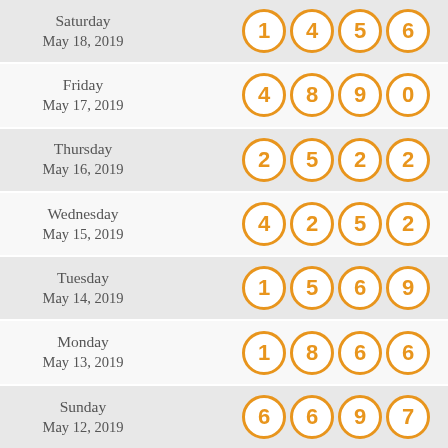| Date | Numbers |
| --- | --- |
| Saturday May 18, 2019 | 1 4 5 6 |
| Friday May 17, 2019 | 4 8 9 0 |
| Thursday May 16, 2019 | 2 5 2 2 |
| Wednesday May 15, 2019 | 4 2 5 2 |
| Tuesday May 14, 2019 | 1 5 6 9 |
| Monday May 13, 2019 | 1 8 6 6 |
| Sunday May 12, 2019 | 6 6 9 7 |